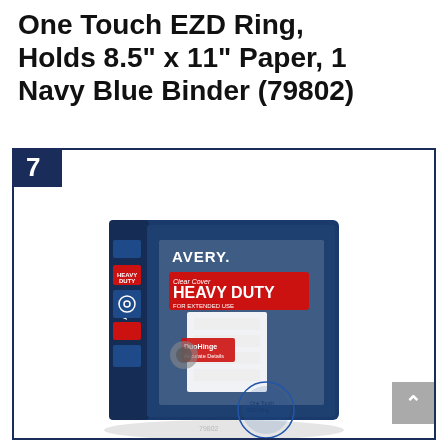One Touch EZD Ring, Holds 8.5" x 11" Paper, 1 Navy Blue Binder (79802)
[Figure (photo): Product photo of an Avery Heavy Duty Clear Cover navy blue 3-ring binder with One Touch EZD Ring mechanism, showing DuoHinge feature callouts on the packaging.]